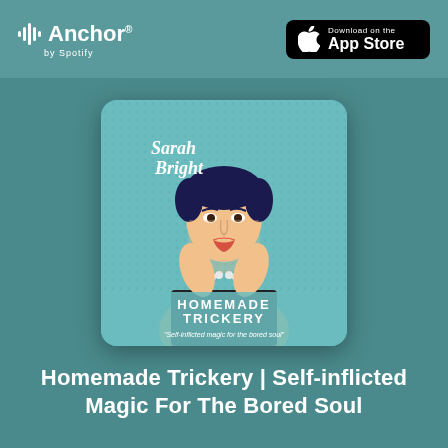Anchor by Spotify | Download on the App Store
[Figure (illustration): Podcast cover art for 'Homemade Trickery' by Sarah Bright. Pop-art style illustration of a woman with dark short hair, wearing a black outfit and pearl necklace, resting her chin on her hands. Light blue background with halftone dot pattern. Title text 'HOMEMADE TRICKERY' and subtitle 'Self-inflicted magic for the bored soul' shown at bottom of artwork.]
Homemade Trickery | Self-inflicted Magic For The Bored Soul